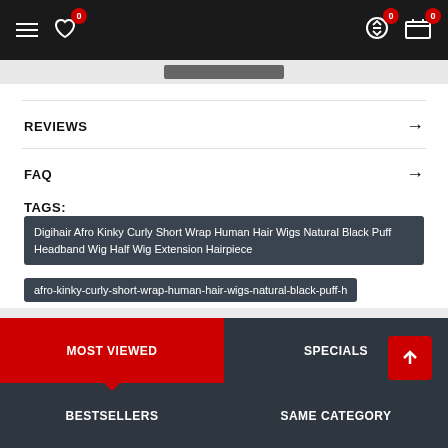Navigation header with hamburger menu, wishlist icon (0), compare icon (0), and cart icon (0)
REVIEWS →
FAQ →
TAGS:
Digihair Afro Kinky Curly Short Wrap Human Hair Wigs Natural Black Puff Headband Wig Half Wig Extension Hairpiece
afro-kinky-curly-short-wrap-human-hair-wigs-natural-black-puff-h
Headband Wig
MOST VIEWED | SPECIALS | BESTSELLERS | SAME CATEGORY